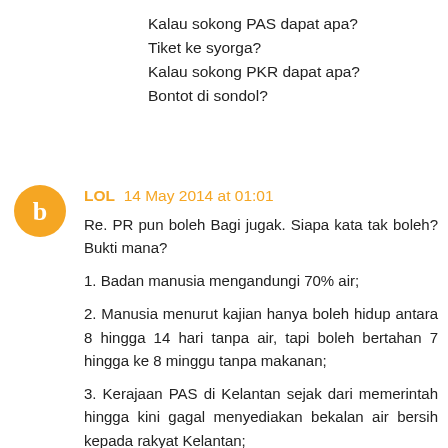Kalau sokong PAS dapat apa?
Tiket ke syorga?
Kalau sokong PKR dapat apa?
Bontot di sondol?
LOL  14 May 2014 at 01:01
Re. PR pun boleh Bagi jugak. Siapa kata tak boleh? Bukti mana?
1. Badan manusia mengandungi 70% air;
2. Manusia menurut kajian hanya boleh hidup antara 8 hingga 14 hari tanpa air, tapi boleh bertahan 7 hingga ke 8 minggu tanpa makanan;
3. Kerajaan PAS di Kelantan sejak dari memerintah hingga kini gagal menyediakan bekalan air bersih kepada rakyat Kelantan;
4. Kerajaan PR di Selangor sejak memerintah hingga kini berdenan dengan masaalah air;